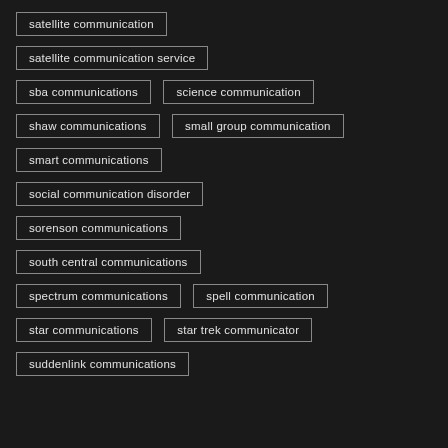satellite communication
satellite communication service
sba communications
science communication
shaw communications
small group communication
smart communications
social communication disorder
sorenson communications
south central communications
spectrum communications
spell communication
star communications
star trek communicator
suddenlink communications